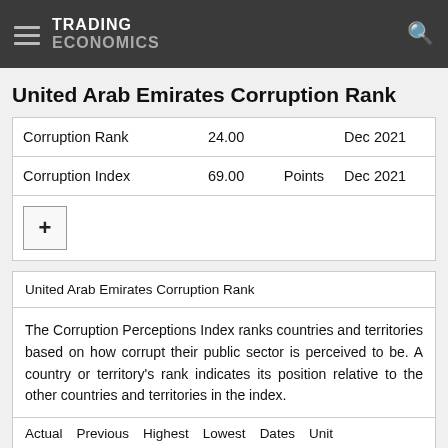TRADING ECONOMICS
United Arab Emirates Corruption Rank
|  |  |  |  |
| --- | --- | --- | --- |
| Corruption Rank | 24.00 |  | Dec 2021 |
| Corruption Index | 69.00 | Points | Dec 2021 |
| + |  |  |  |
United Arab Emirates Corruption Rank
The Corruption Perceptions Index ranks countries and territories based on how corrupt their public sector is perceived to be. A country or territory's rank indicates its position relative to the other countries and territories in the index.
| Actual | Previous | Highest | Lowest | Dates | Unit |
| --- | --- | --- | --- | --- | --- |